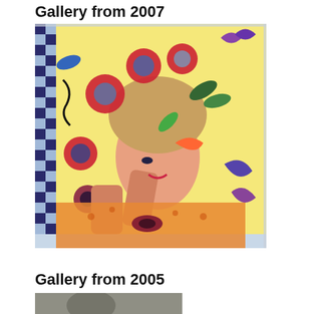Gallery from 2007
[Figure (photo): Colorful textile/fabric collage art quilt featuring abstract human figures, faces, hands, and decorative patterns in vivid colors including red, orange, yellow, green, blue, purple on a yellow background with checkered border elements.]
Gallery from 2005
[Figure (photo): Partial view of a gray-toned artwork or sculpture, cropped at bottom of page.]